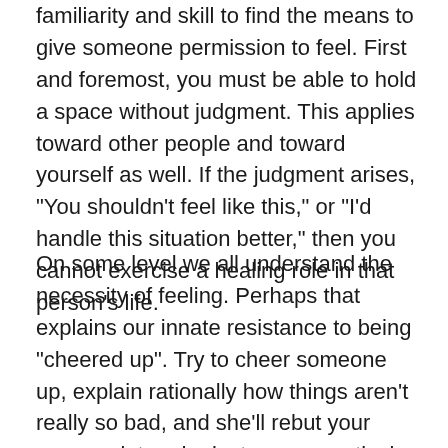familiarity and skill to find the means to give someone permission to feel. First and foremost, you must be able to hold a space without judgment. This applies toward other people and toward yourself as well. If the judgment arises, "You shouldn't feel like this," or "I'd handle this situation better," then you cannot exercise a healing role in that person's life.
On some level we all understand the necessity of feeling. Perhaps that explains our innate resistance to being "cheered up". Try to cheer someone up, explain rationally how things aren't really so bad, and she'll rebut your every point and reject every practical suggestion. That is because what she really wants is to feel bad